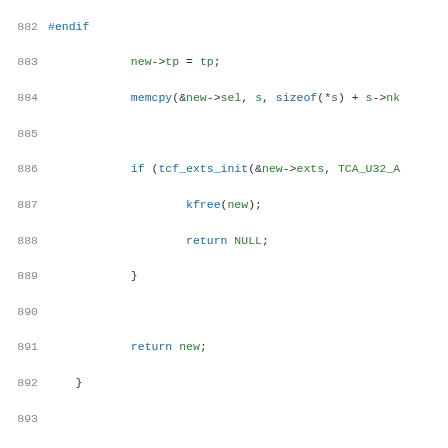Source code listing, lines 882-903, C kernel code for u32_change function